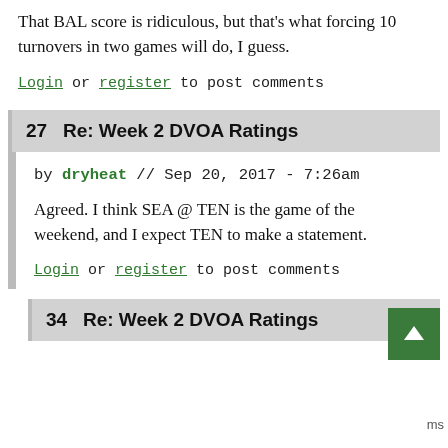That BAL score is ridiculous, but that's what forcing 10 turnovers in two games will do, I guess.
Login or register to post comments
27   Re: Week 2 DVOA Ratings
by dryheat // Sep 20, 2017 - 7:26am
Agreed. I think SEA @ TEN is the game of the weekend, and I expect TEN to make a statement.
Login or register to post comments
34   Re: Week 2 DVOA Ratings